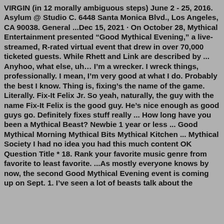VIRGIN (in 12 morally ambiguous steps) June 2 - 25, 2016. Asylum @ Studio C. 6448 Santa Monica Blvd., Los Angeles, CA 90038. General ...Dec 15, 2021 · On October 28, Mythical Entertainment presented “Good Mythical Evening,” a live-streamed, R-rated virtual event that drew in over 70,000 ticketed guests. While Rhett and Link are described by ... Anyhoo, what else, uh… I’m a wrecker. I wreck things, professionally. I mean, I’m very good at what I do. Probably the best I know. Thing is, fixing’s the name of the game. Literally. Fix-It Felix Jr. So yeah, naturally, the guy with the name Fix-It Felix is the good guy. He’s nice enough as good guys go. Definitely fixes stuff really ... How long have you been a Mythical Beast? Newbie 1 year or less ... Good Mythical Morning Mythical Bits Mythical Kitchen ... Mythical Society I had no idea you had this much content OK Question Title * 18. Rank your favorite music genre from favorite to least favorite. ...As mostly everyone knows by now, the second Good Mythical Evening event is coming up on Sept. 1. I’ve seen a lot of beasts talk about the...